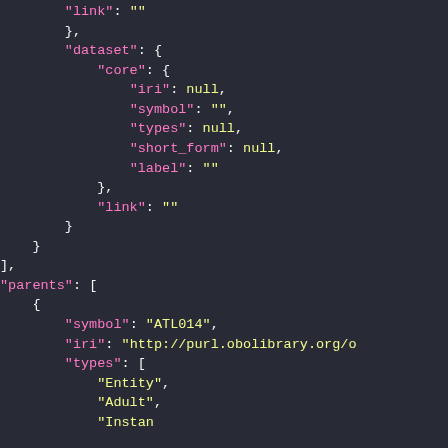JSON code snippet showing link, dataset, core, parents structure with fields iri, symbol, types, short_form, label, link, symbol ATL014, iri http://purl.obolibrary.org/o, types Entity, Adult